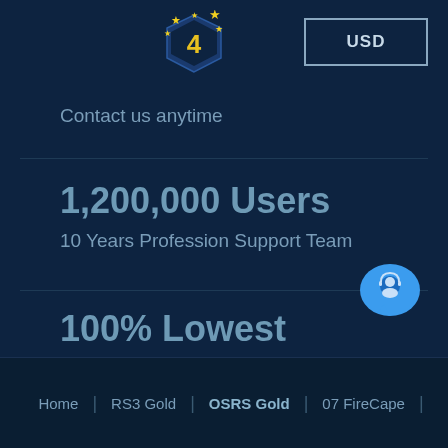[Figure (logo): Game gold selling service logo with stars and shield emblem]
USD
Contact us anytime
1,200,000 Users
10 Years Profession Support Team
100% Lowest
Best Service & Cheaper Price
[Figure (illustration): Blue chat support bubble icon with person/headset avatar]
Home | RS3 Gold | OSRS Gold | 07 FireCape |